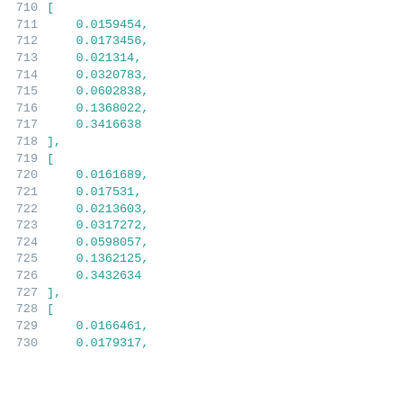710    [
711        0.0159454,
712        0.0173456,
713        0.021314,
714        0.0320783,
715        0.0602838,
716        0.1368022,
717        0.3416638
718    ],
719    [
720        0.0161689,
721        0.017531,
722        0.0213603,
723        0.0317272,
724        0.0598057,
725        0.1362125,
726        0.3432634
727    ],
728    [
729        0.0166461,
730        0.0179317,